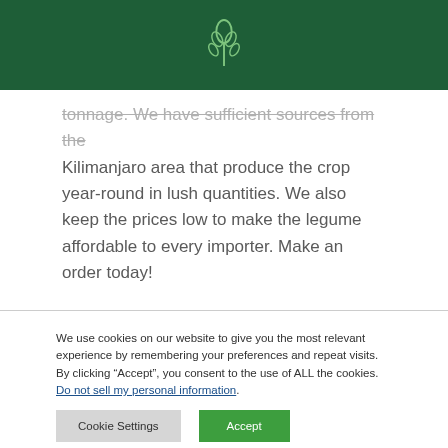[wheat/grain icon on dark green header bar]
tonnage. We have sufficient sources from the Kilimanjaro area that produce the crop year-round in lush quantities. We also keep the prices low to make the legume affordable to every importer. Make an order today!
We use cookies on our website to give you the most relevant experience by remembering your preferences and repeat visits. By clicking “Accept”, you consent to the use of ALL the cookies.
Do not sell my personal information.